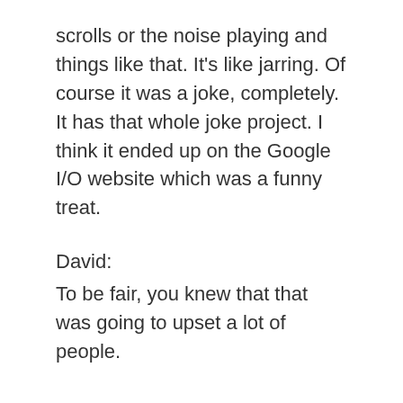scrolls or the noise playing and things like that. It's like jarring. Of course it was a joke, completely. It has that whole joke project. I think it ended up on the Google I/O website which was a funny treat.
David:
To be fair, you knew that that was going to upset a lot of people.
Tim Holman:
Yeah to be fair. But even in that, off the top of your head, I feel like a lot of people could scaffold out a library that will scroll to the top of the page. But when you actually build things like this, you find,